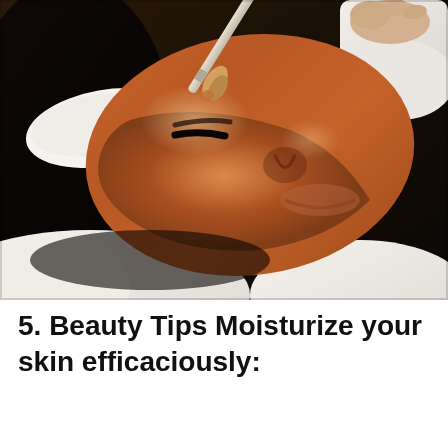[Figure (photo): A woman lying down wearing a white headband and robe, receiving a clay face mask treatment applied with a brush by a spa therapist]
5. Beauty Tips Moisturize your skin efficaciously: